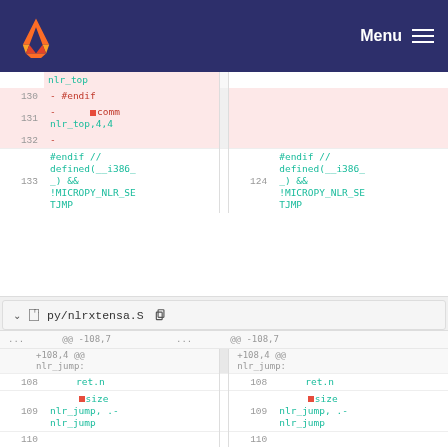GitLab — Menu
[Figure (screenshot): Code diff view showing removal of lines 130-132 including #endif and .comm nlr_top,4,4, and unchanged line 133 with #endif // defined(__i386_) && !MICROPY_NLR_SETJMP paired with line 124 on the right]
py/nlrxtensa.S
[Figure (screenshot): Code diff view for py/nlrxtensa.S showing context @@ -108,7 +108,4 @@ nlr_jump: with lines 108 ret.n and 109 .size nlr_jump, .-nlr_jump on both sides, and line 110 partially visible]